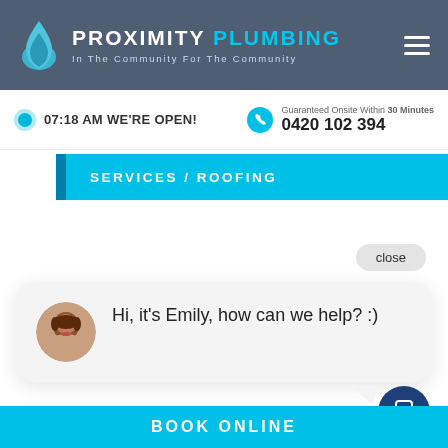[Figure (screenshot): Proximity Plumbing website screenshot with logo, navigation, phone bar, breadcrumb, and chat widget]
PROXIMITY PLUMBING
In The Community For The Community
07:18 AM WE'RE OPEN!
Guaranteed Onsite Within 30 Minutes
0420 102 394
SERVICES / ROOFING
close
Hi, it's Emily, how can we help? :)
BOOK ONLINE